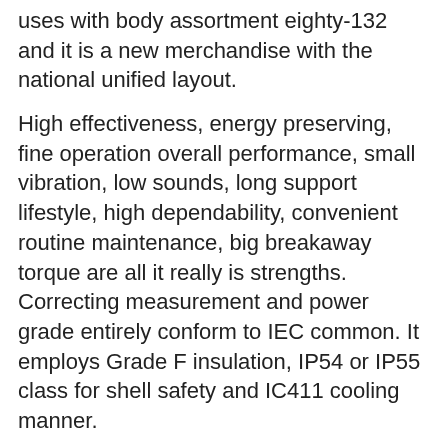uses with body assortment eighty-132 and it is a new merchandise with the national unified layout.
High effectiveness, energy preserving, fine operation overall performance, small vibration, low sounds, long support lifestyle, high dependability, convenient routine maintenance, big breakaway torque are all it really is strengths. Correcting measurement and power grade entirely conform to IEC common. It employs Grade F insulation, IP54 or IP55 class for shell safety and IC411 cooling manner.